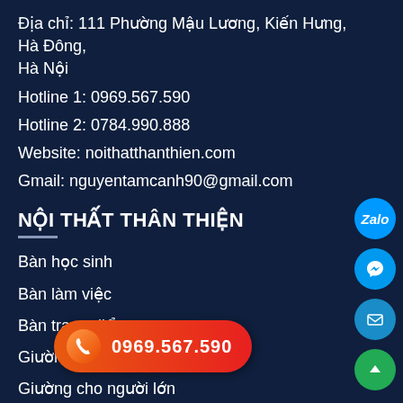Địa chỉ: 111 Phường Mậu Lương, Kiến Hưng, Hà Đông, Hà Nội
Hotline 1: 0969.567.590
Hotline 2: 0784.990.888
Website: noithatthanthien.com
Gmail: nguyentamcanh90@gmail.com
NỘI THẤT THÂN THIỆN
Bàn học sinh
Bàn làm việc
Bàn trang điểm
Giường cho bé
Giường cho người lớn
Kệ để đồ trang trí
Kệ tivi
[Figure (infographic): Phone call button with number 0969.567.590 and side social icons: Zalo, Messenger, Email, scroll-up]
[Figure (infographic): Side icon buttons: Zalo (blue), Messenger (blue), Email (blue), scroll-up (green)]